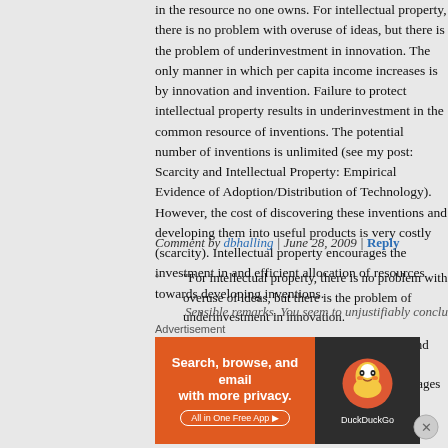in the resource no one owns. For intellectual property, there is no problem with overuse of ideas, but there is the problem of underinvestment in innovation. The only manner in which per capita income increases is by innovation and invention. Failure to protect intellectual property results in underinvestment in the common resource of inventions. The potential number of inventions is unlimited (see my post: Scarcity and Intellectual Property: Empirical Evidence of Adoption/Distribution of Technology). However, the cost of discovering these inventions and developing them into useful products is very costly (scarcity). Intellectual property encourages the investment in and efficient allocation of resources towards developing inventions.
Comment by dbhalling | June 28, 2009 | Reply
“For intellectual property, there is no problem with overuse of ideas, but there is the problem of underinvestment in innovation.
“…the cost of discovering these inventions and developing them into useful products is very costly (scarcity). Intellectual property encourages the investment in and efficient allocation of resources towards developing inventions.”
Sensible remarks. You seem to unjustifiably conclude how...
Advertisement
[Figure (illustration): DuckDuckGo advertisement banner: orange background on left with text 'Search, browse, and email with more privacy. All in One Free App' and white button. Dark right panel with DuckDuckGo duck logo and DuckDuckGo text.]